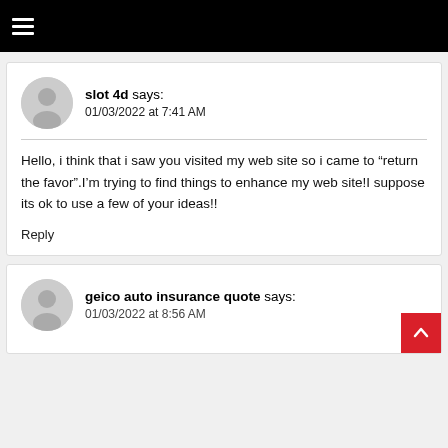☰
slot 4d says:
01/03/2022 at 7:41 AM
Hello, i think that i saw you visited my web site so i came to “return the favor”.I’m trying to find things to enhance my web site!I suppose its ok to use a few of your ideas!!
Reply
geico auto insurance quote says:
01/03/2022 at 8:56 AM